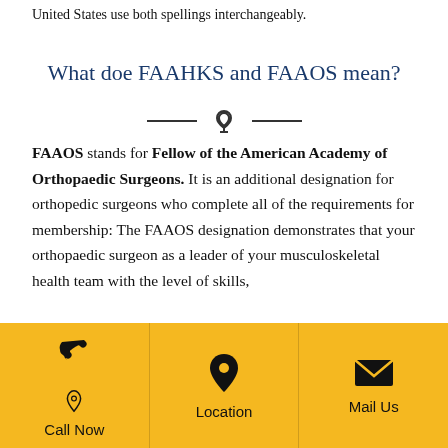United States use both spellings interchangeably.
What doe FAAHKS and FAAOS mean?
FAAOS stands for Fellow of the American Academy of Orthopaedic Surgeons. It is an additional designation for orthopedic surgeons who complete all of the requirements for membership: The FAAOS designation demonstrates that your orthopaedic surgeon as a leader of your musculoskeletal health team with the level of skills,
Call Now | Location | Mail Us